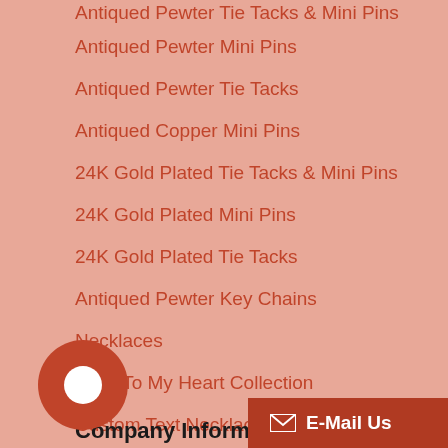Antiqued Pewter Tie Tacks & Mini Pins
Antiqued Pewter Mini Pins
Antiqued Pewter Tie Tacks
Antiqued Copper Mini Pins
24K Gold Plated Tie Tacks & Mini Pins
24K Gold Plated Mini Pins
24K Gold Plated Tie Tacks
Antiqued Pewter Key Chains
Necklaces
Keys To My Heart Collection
Custom Text Necklaces
ll Categories
Company Informatio
E-Mail Us